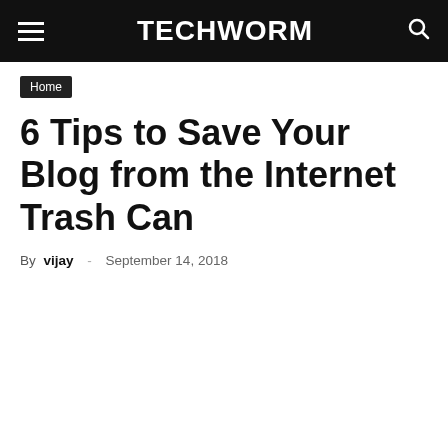TECHWORM
Home
6 Tips to Save Your Blog from the Internet Trash Can
By vijay - September 14, 2018